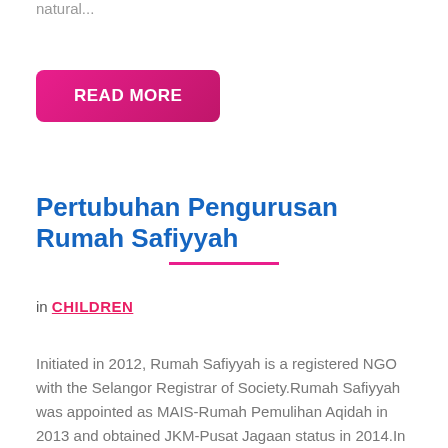natural...
[Figure (other): Pink/magenta rounded rectangle button with white bold text reading READ MORE]
Pertubuhan Pengurusan Rumah Safiyyah
in CHILDREN
Initiated in 2012, Rumah Safiyyah is a registered NGO with the Selangor Registrar of Society.Rumah Safiyyah was appointed as MAIS-Rumah Pemulihan Aqidah in 2013 and obtained JKM-Pusat Jagaan status in 2014.In May 2015, Rumah Safiyyah is an approved Income Tax Exemption entity by which individual and corporate can receive tax exemption on their contributions. Rumah Safiyyah is currently runs on public donations, zakat contribution from MAIS and personal funding from the Chairman.Our children are the gentle souls that the Almighty had lend to us so we can